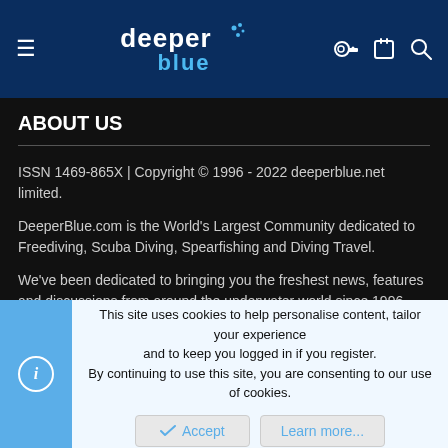deeper blue (logo) — navigation header with menu and icons
ABOUT US
ISSN 1469-865X | Copyright © 1996 - 2022 deeperblue.net limited.
DeeperBlue.com is the World's Largest Community dedicated to Freediving, Scuba Diving, Spearfishing and Diving Travel.
We've been dedicated to bringing you the freshest news, features and discussions from around the underwater world since 1996.
ADVERT
This site uses cookies to help personalise content, tailor your experience and to keep you logged in if you register.
By continuing to use this site, you are consenting to our use of cookies.